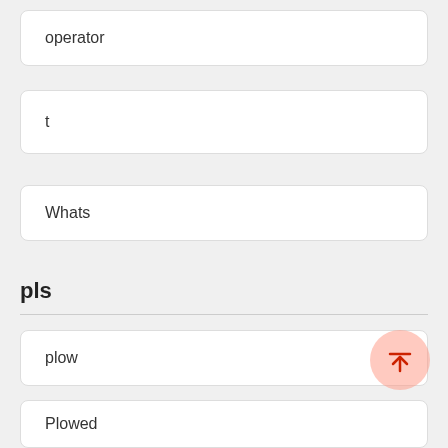operator
t
Whats
pls
plow
Plowed
plower